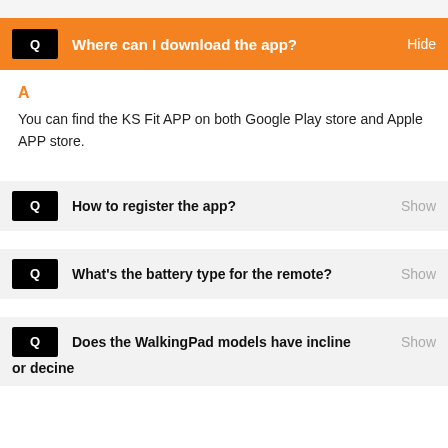Q  Where can I download the app?  Hide
A
You can find the KS Fit APP on both Google Play store and Apple APP store.
Q  How to register the app?  Show
Q  What's the battery type for the remote?  Show
Q  Does the WalkingPad models have incline or decine  Show